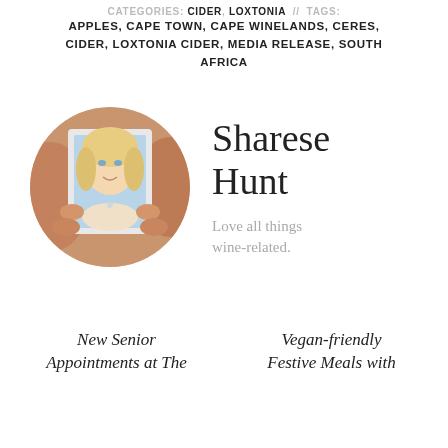CATEGORIES: CIDER, LOXTONIA // TAGS:
APPLES, CAPE TOWN, CAPE WINELANDS, CERES, CIDER, LOXTONIA CIDER, MEDIA RELEASE, SOUTH AFRICA
[Figure (photo): Circular portrait photo of Sharese Hunt, a blonde woman holding a framed photograph of herself, with a soft warm background.]
Sharese Hunt
Love all things wine-related.
New Senior Appointments at The
Vegan-friendly Festive Meals with